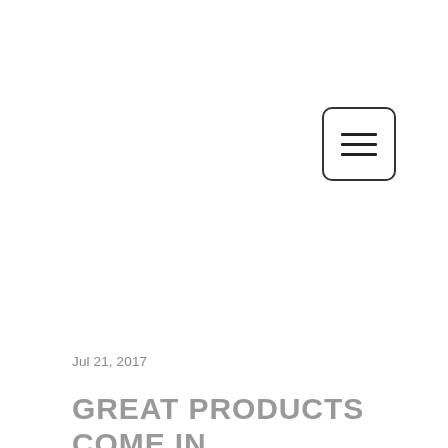[Figure (other): Hamburger menu button icon inside a rounded rectangle border]
Jul 21, 2017
GREAT PRODUCTS COME IN THREE'S